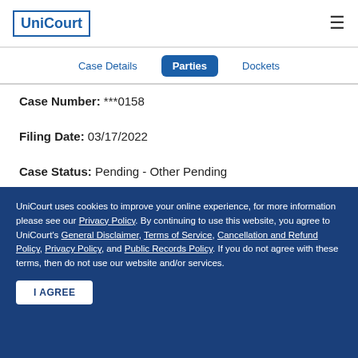UniCourt
Case Details | Parties | Dockets
Case Number: ***0158
Filing Date: 03/17/2022
Case Status: Pending - Other Pending
Case Type: ⓘ Other
Court: California Courts of Appeal
UniCourt uses cookies to improve your online experience, for more information please see our Privacy Policy. By continuing to use this website, you agree to UniCourt's General Disclaimer, Terms of Service, Cancellation and Refund Policy, Privacy Policy, and Public Records Policy. If you do not agree with these terms, then do not use our website and/or services.
I AGREE